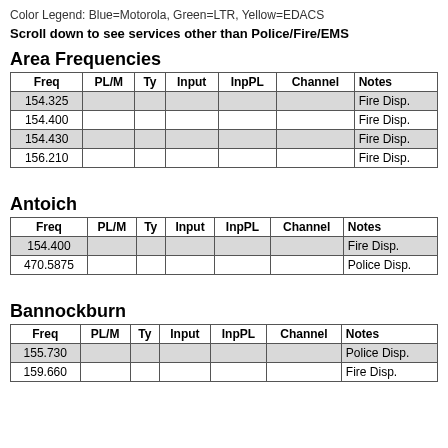Color Legend: Blue=Motorola, Green=LTR, Yellow=EDACS
Scroll down to see services other than Police/Fire/EMS
Area Frequencies
| Freq | PL/M | Ty | Input | InpPL | Channel | Notes |
| --- | --- | --- | --- | --- | --- | --- |
| 154.325 |  |  |  |  |  | Fire Disp. |
| 154.400 |  |  |  |  |  | Fire Disp. |
| 154.430 |  |  |  |  |  | Fire Disp. |
| 156.210 |  |  |  |  |  | Fire Disp. |
Antoich
| Freq | PL/M | Ty | Input | InpPL | Channel | Notes |
| --- | --- | --- | --- | --- | --- | --- |
| 154.400 |  |  |  |  |  | Fire Disp. |
| 470.5875 |  |  |  |  |  | Police Disp. |
Bannockburn
| Freq | PL/M | Ty | Input | InpPL | Channel | Notes |
| --- | --- | --- | --- | --- | --- | --- |
| 155.730 |  |  |  |  |  | Police Disp. |
| 159.660 |  |  |  |  |  | Fire Disp. |